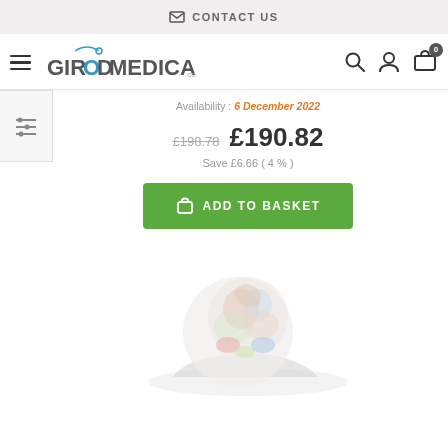✉ CONTACT US
[Figure (logo): GirodMedical.co.uk logo with hamburger menu, search, account and basket icons]
Availability : 6 December 2022
£198.78 £190.82
Save £6.66 ( 4 % )
ADD TO BASKET
[Figure (photo): Medical anatomical model product image showing a colorful joint or body part model]